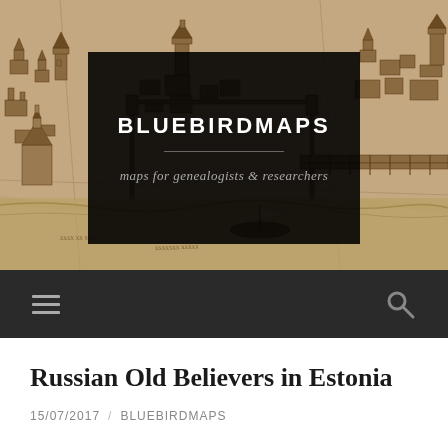[Figure (illustration): Historical engraved map illustration showing a bird's-eye view of an old town/city with buildings, churches, bridges, and fortifications in brown/sepia tones]
BLUEBIRDMAPS
maps for genealogists & researchers
Russian Old Believers in Estonia
15/07/2017 / BLUEBIRDMAPS